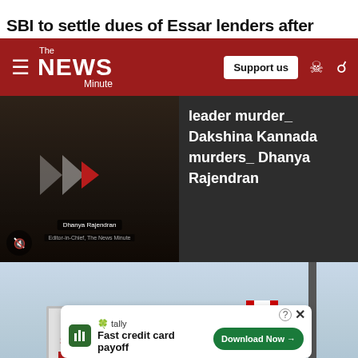SBI to settle dues of Essar lenders after
[Figure (screenshot): The News Minute website navigation bar with red background, hamburger menu, logo, Support us button, user icon, and search icon]
[Figure (screenshot): Video thumbnail showing Dhanya Rajendran, with play arrows icon and mute button. Right side shows text: leader murder_ Dakshina Kannada murders_ Dhanya Rajendran]
leader murder_ Dakshina Kannada murders_ Dhanya Rajendran
[Figure (photo): Outdoor photo showing Essar Steel Algoma sign at #2 Gate, with sky background, pole, and Canadian flag in background]
[Figure (screenshot): Advertisement banner: Tally - Fast credit card payoff, Download Now button]